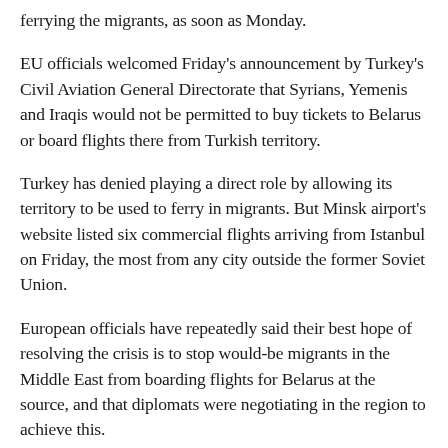ferrying the migrants, as soon as Monday.
EU officials welcomed Friday's announcement by Turkey's Civil Aviation General Directorate that Syrians, Yemenis and Iraqis would not be permitted to buy tickets to Belarus or board flights there from Turkish territory.
Turkey has denied playing a direct role by allowing its territory to be used to ferry in migrants. But Minsk airport's website listed six commercial flights arriving from Istanbul on Friday, the most from any city outside the former Soviet Union.
European officials have repeatedly said their best hope of resolving the crisis is to stop would-be migrants in the Middle East from boarding flights for Belarus at the source, and that diplomats were negotiating in the region to achieve this.